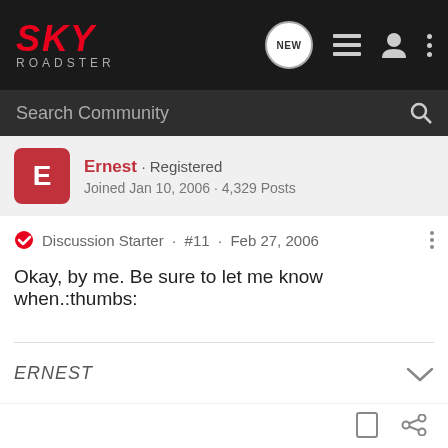SKY ROADSTER
Search Community
Ernest · Registered
Joined Jan 10, 2006 · 4,329 Posts
Discussion Starter · #11 · Feb 27, 2006
Okay, by me. Be sure to let me know when.:thumbs:
ERNEST